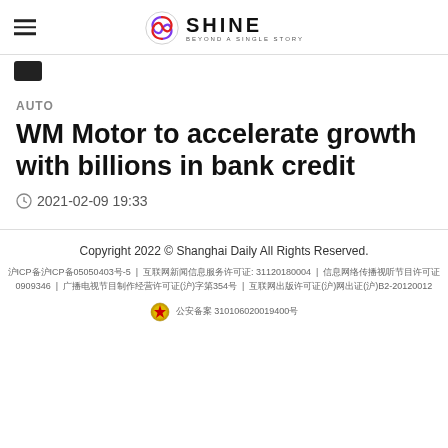SHINE — BEYOND A SINGLE STORY
AUTO
WM Motor to accelerate growth with billions in bank credit
2021-02-09 19:33
Copyright 2022 © Shanghai Daily All Rights Reserved. 沪ICP备沪ICP备05050403号-5 | 互联网新闻信息服务许可证: 31120180004 | 信息网络传播视听节目许可证0909346 | 广播电视节目制作经营许可证(沪)字第354号 | 互联网出版许可证(沪)网出证(沪)B2-20120012 公安备案 310106020019400